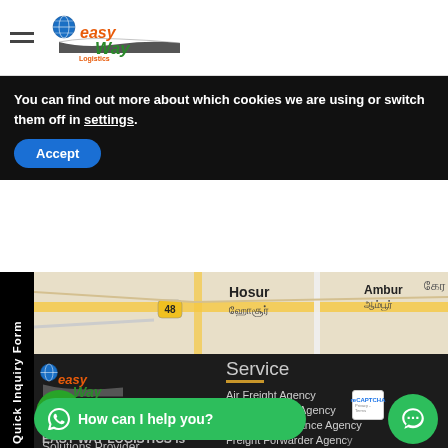Easy Way Logistics — navigation header with logo
You can find out more about which cookies we are using or switch them off in settings.
Accept
[Figure (map): Street map showing Hosur (ஹோசூர்) area with route 48, and Ambur (ஆம்பூர்) visible on the right]
Quick Inquiry Form
[Figure (logo): Easy Way Logistics logo with globe icon, orange 'easy' text, green 'Way' text on truck silhouette, and 'Logistics' text]
About Us
EASY WAY LOGISTICS is
CALL
Service
Air Freight Agency
Transportation Agency
Customs Clearance Agency
Freight Forwarder Agency
Warehouse Service
Third party Logistics Se...
Freight Forwarder in Chennai
Solutions Provider
How can I help you?